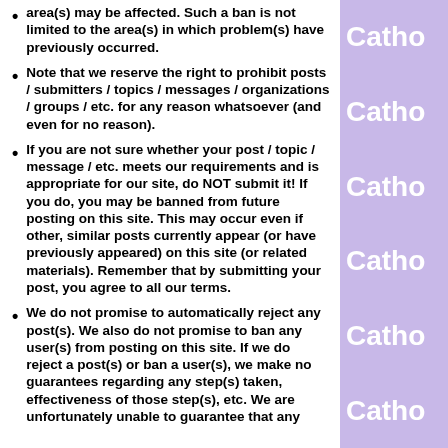area(s) may be affected. Such a ban is not limited to the area(s) in which problem(s) have previously occurred.
Note that we reserve the right to prohibit posts / submitters / topics / messages / organizations / groups / etc. for any reason whatsoever (and even for no reason).
If you are not sure whether your post / topic / message / etc. meets our requirements and is appropriate for our site, do NOT submit it! If you do, you may be banned from future posting on this site. This may occur even if other, similar posts currently appear (or have previously appeared) on this site (or related materials). Remember that by submitting your post, you agree to all our terms.
We do not promise to automatically reject any post(s). We also do not promise to ban any user(s) from posting on this site. If we do reject a post(s) or ban a user(s), we make no guarantees regarding any step(s) taken, effectiveness of those step(s), etc. We are unfortunately unable to guarantee that any